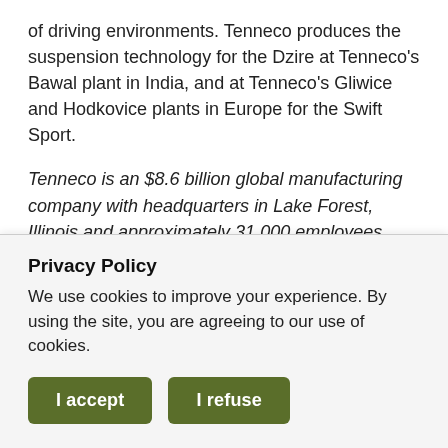of driving environments. Tenneco produces the suspension technology for the Dzire at Tenneco's Bawal plant in India, and at Tenneco's Gliwice and Hodkovice plants in Europe for the Swift Sport.
Tenneco is an $8.6 billion global manufacturing company with headquarters in Lake Forest, Illinois and approximately 31,000 employees worldwide. Tenneco is one of the world's largest designers, manufacturers and marketers of ride performance and clean air products and systems for automotive and commercial vehicle original equipment markets and the aftermarket. Tenneco's
Privacy Policy
We use cookies to improve your experience. By using the site, you are agreeing to our use of cookies.